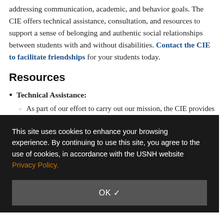addressing communication, academic, and behavior goals. The CIE offers technical assistance, consultation, and resources to support a sense of belonging and authentic social relationships between students with and without disabilities. Contact the CIE to facilitate friendships for your students today.
Resources
Technical Assistance:
As part of our effort to carry out our mission, the CIE provides students to serve as professional development trainers in New Hampshire, nationally, and internationally. We offer single and multi-day institutes and workshops as well as customized, on-site training for teachers of students with significant support needs.
Play is an important part of friendship development. Check
This site uses cookies to enhance your browsing experience. By continuing to use this site, you agree to the use of cookies, in accordance with the USNH website Privacy Policy.
OK ✓